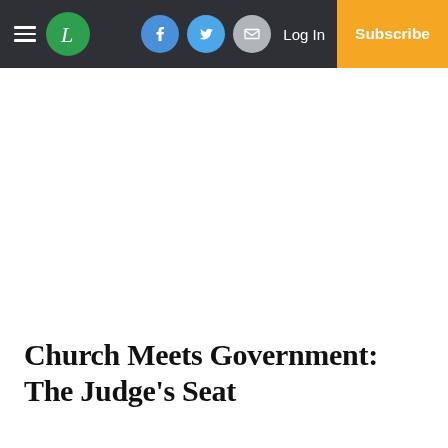Navigation bar with hamburger menu, L logo, Facebook, Twitter, Email icons, Log In, Subscribe
Church Meets Government: The Judge's Seat